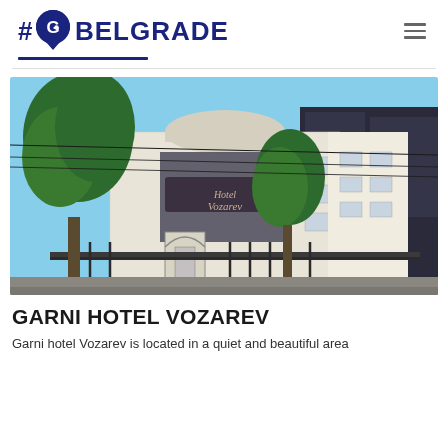#Go BELGRADE
[Figure (photo): Exterior photograph of Garni Hotel Vozarev — a multi-storey white building with dark roof, decorative arched entrance gate with iron fence, large green trees in foreground, and hotel signage reading 'Hotel Vozarev' on the facade. Blue sky background.]
GARNI HOTEL VOZAREV
Garni hotel Vozarev is located in a quiet and beautiful area